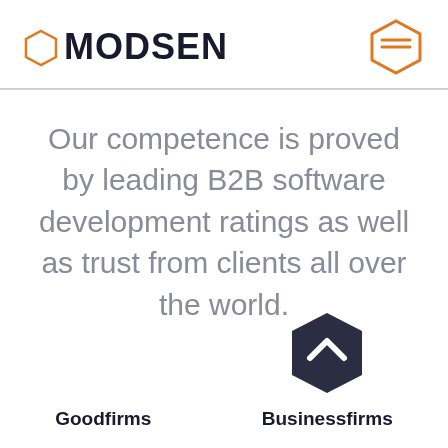[Figure (logo): Modsen logo with hexagon icon on left and orange hexagon icon on right]
Our competence is proved by leading B2B software development ratings as well as trust from clients all over the world.
[Figure (logo): Goodfirms logo - no icon shown]
[Figure (logo): Businessfirms logo with dark hexagon chevron icon]